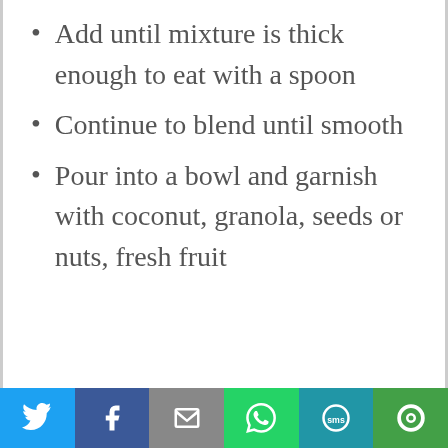Add until mixture is thick enough to eat with a spoon
Continue to blend until smooth
Pour into a bowl and garnish with coconut, granola, seeds or nuts, fresh fruit
Social share bar: Twitter, Facebook, Email, WhatsApp, SMS, More